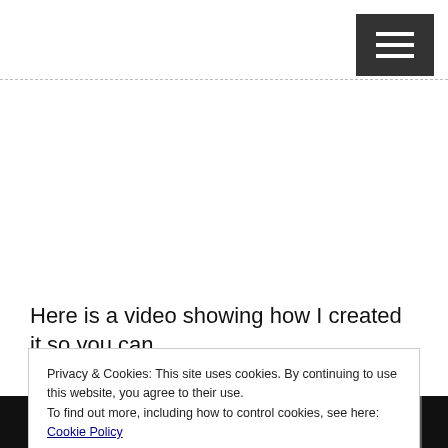Here is a video showing how I created it so you can
Privacy & Cookies: This site uses cookies. By continuing to use this website, you agree to their use.
To find out more, including how to control cookies, see here: Cookie Policy
Close and accept